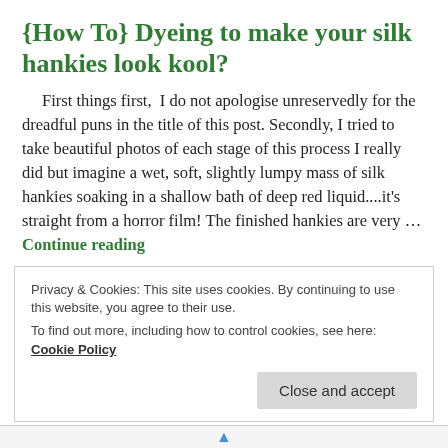{How To} Dyeing to make your silk hankies look kool?
First things first,  I do not apologise unreservedly for the dreadful puns in the title of this post. Secondly, I tried to take beautiful photos of each stage of this process I really did but imagine a wet, soft, slightly lumpy mass of silk hankies soaking in a shallow bath of deep red liquid....it's straight from a horror film! The finished hankies are very … Continue reading
LEAVE A COMMENT
Privacy & Cookies: This site uses cookies. By continuing to use this website, you agree to their use.
To find out more, including how to control cookies, see here: Cookie Policy